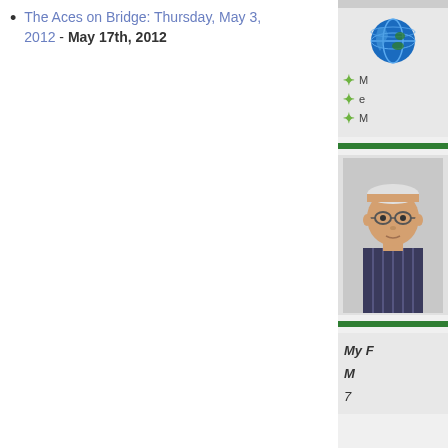The Aces on Bridge: Thursday, May 3, 2012 - May 17th, 2012
[Figure (illustration): Sidebar with globe icon, green plus bullet list items partially visible (M, e, M), green bar separator, photo of an older man with glasses and striped shirt, green bar separator, and a box showing italic text starting with 'My F', 'M', and '7']